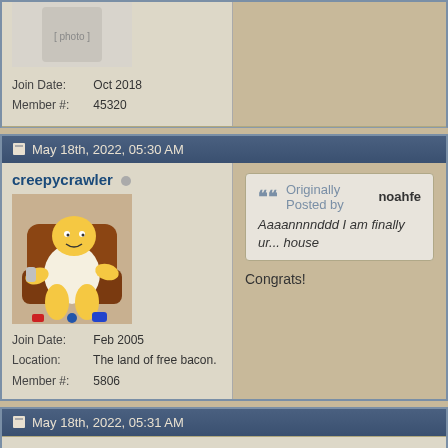Join Date: Oct 2018
Member #: 45320
May 18th, 2022, 05:30 AM
creepycrawler
[Figure (illustration): Homer Simpson sitting in a recliner chair in underwear, cartoon image used as forum avatar]
Join Date: Feb 2005
Location: The land of free bacon.
Member #: 5806
Originally Posted by noahfe
Aaaannnnddd I am finally ur... house
Congrats!
May 18th, 2022, 05:31 AM